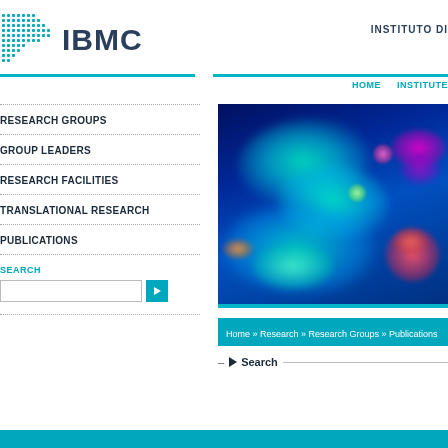IBMC
INSTITUTO DI
RESEARCH GROUPS
GROUP LEADERS
RESEARCH FACILITIES
TRANSLATIONAL RESEARCH
PUBLICATIONS
[Figure (photo): Fluorescence microscopy image showing glowing green and cyan structures against a dark blue background, with magenta/pink spots visible]
Home » Research » Research Groups » Publications
Search
Author   Title [Type▼] [Ye...